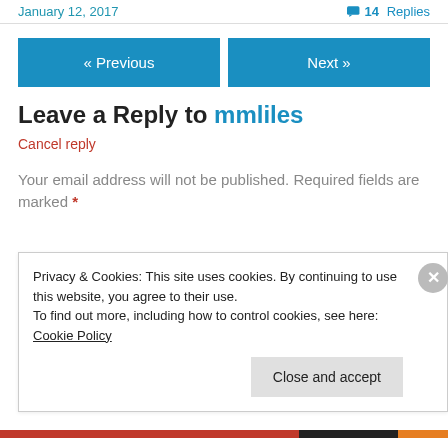January 12, 2017 | 💬 14 Replies
« Previous | Next »
Leave a Reply to mmliles
Cancel reply
Your email address will not be published. Required fields are marked *
Privacy & Cookies: This site uses cookies. By continuing to use this website, you agree to their use.
To find out more, including how to control cookies, see here: Cookie Policy
[Close and accept]